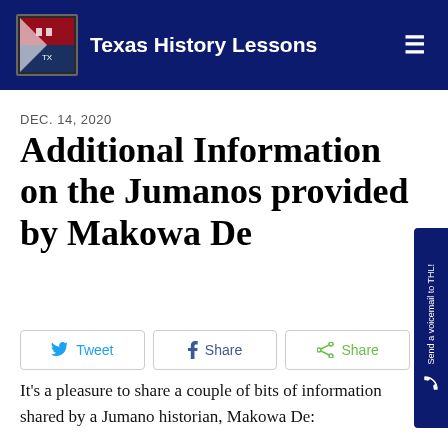Texas History Lessons
DEC. 14, 2020
Additional Information on the Jumanos provided by Makowa De
[Figure (other): Social sharing buttons: Tweet, Share (Facebook), Share (generic)]
It's a pleasure to share a couple of bits of information shared by a Jumano historian, Makowa De: